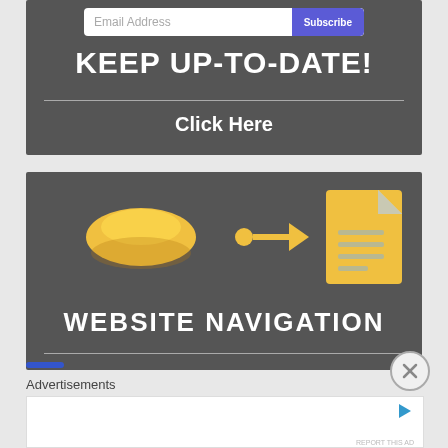[Figure (screenshot): Email subscription bar with text field 'Email Address' and purple 'Subscribe' button]
KEEP UP-TO-DATE!
Click Here
[Figure (infographic): Website navigation infographic: yellow pill button, arrow pointing right, document icon, with text WEBSITE NAVIGATION]
Advertisements